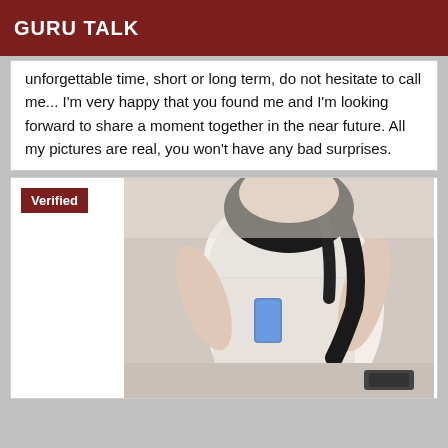GURU TALK
unforgettable time, short or long term, do not hesitate to call me... I'm very happy that you found me and I'm looking forward to share a moment together in the near future. All my pictures are real, you won't have any bad surprises.
Verified
[Figure (photo): A person in white lace lingerie, photo partially cropped, dark hair, holding a phone]